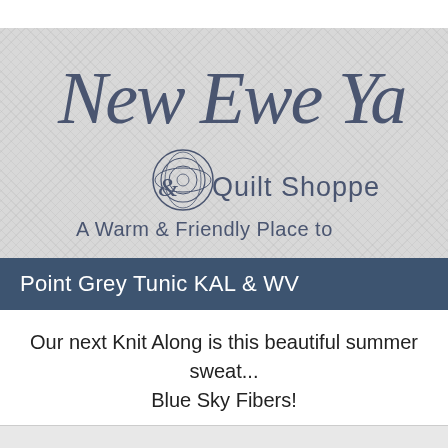[Figure (logo): New Ewe Yarn & Quilt Shoppe logo with script text and yarn ball icon on grey crosshatch background, with tagline 'A Warm & Friendly Place to']
Point Grey Tunic KAL & WW
Our next Knit Along is this beautiful summer sweat... Blue Sky Fibers!